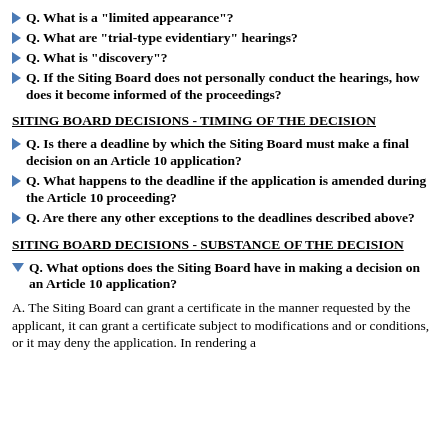Q. What is a "limited appearance"?
Q. What are "trial-type evidentiary" hearings?
Q. What is "discovery"?
Q. If the Siting Board does not personally conduct the hearings, how does it become informed of the proceedings?
SITING BOARD DECISIONS - TIMING OF THE DECISION
Q. Is there a deadline by which the Siting Board must make a final decision on an Article 10 application?
Q. What happens to the deadline if the application is amended during the Article 10 proceeding?
Q. Are there any other exceptions to the deadlines described above?
SITING BOARD DECISIONS - SUBSTANCE OF THE DECISION
Q. What options does the Siting Board have in making a decision on an Article 10 application?
A. The Siting Board can grant a certificate in the manner requested by the applicant, it can grant a certificate subject to modifications and or conditions, or it may deny the application. In rendering a